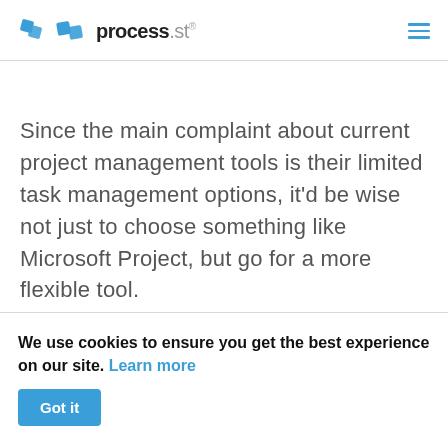process.st
Since the main complaint about current project management tools is their limited task management options, it'd be wise not just to choose something like Microsoft Project, but go for a more flexible tool.
We use cookies to ensure you get the best experience on our site. Learn more
Got it